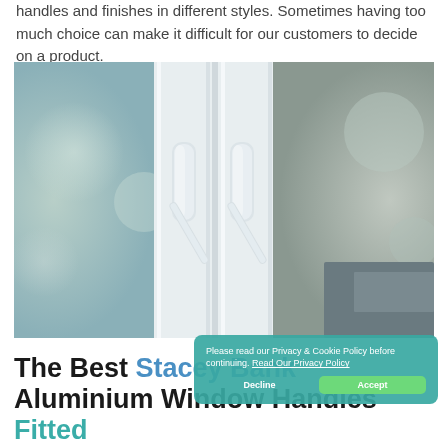handles and finishes in different styles. Sometimes having too much choice can make it difficult for our customers to decide on a product.
[Figure (photo): Close-up photograph of white aluminium window handles on a white uPVC/aluminium window frame, with a blurred outdoor background.]
The Best Stacey Bank Aluminium Window Handles Fitted